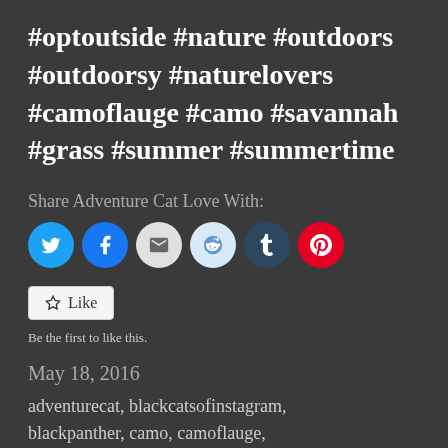#optoutside #nature #outdoors #outdoorsy #naturelovers #camoflauge #camo #savannah #grass #summer #summertime
Share Adventure Cat Love With:
[Figure (other): Social sharing buttons: Twitter, Facebook, Email, Reddit, Tumblr, Pinterest]
[Figure (other): Like button widget]
Be the first to like this.
May 18, 2016
adventurecat, blackcatsofinstagram, blackpanther, camo, camoflauge, campingwithcats, cat, catsofinstagram, catsonleashes, grass, hikingwithcats,